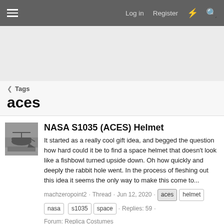Log in  Register
[Figure (screenshot): Advertisement/banner area (light gray)]
< Tags
aces
NASA S1035 (ACES) Helmet
It started as a really cool gift idea, and begged the question how hard could it be to find a space helmet that doesn't look like a fishbowl turned upside down. Oh how quickly and deeply the rabbit hole went. In the process of fleshing out this idea it seems the only way to make this come to...
machzeropoint2 · Thread · Jun 12, 2020 · aces helmet nasa s1035 space · Replies: 59 · Forum: Replica Costumes
joker_gang_inspired_mask_spade__by_blackmirage_studio_dd46f89_fullview.png